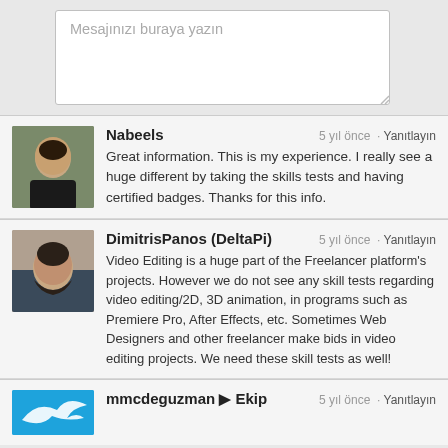Mesajınızı buraya yazın
Nabeels · 5 yıl önce · Yanıtlayın
Great information. This is my experience. I really see a huge different by taking the skills tests and having certified badges. Thanks for this info.
DimitrisPanos (DeltaPi) · 5 yıl önce · Yanıtlayın
Video Editing is a huge part of the Freelancer platform's projects. However we do not see any skill tests regarding video editing/2D, 3D animation, in programs such as Premiere Pro, After Effects, etc. Sometimes Web Designers and other freelancer make bids in video editing projects. We need these skill tests as well!
mmcdeguzman ▶ Ekip · 5 yıl önce · Yanıtlayın